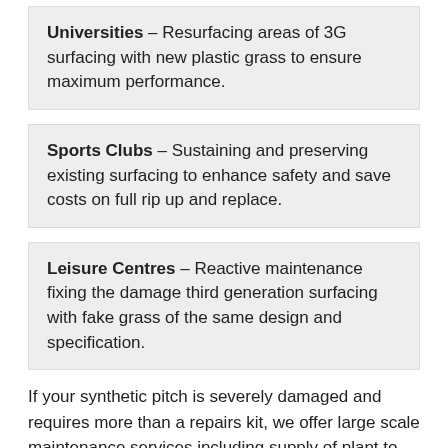Universities – Resurfacing areas of 3G surfacing with new plastic grass to ensure maximum performance.
Sports Clubs – Sustaining and preserving existing surfacing to enhance safety and save costs on full rip up and replace.
Leisure Centres – Reactive maintenance fixing the damage third generation surfacing with fake grass of the same design and specification.
If your synthetic pitch is severely damaged and requires more than a repairs kit, we offer large scale maintenance services including supply of plant to complete resurfacing and renovation projects. For information about the supply of plant make sure you click here http://www.syntheticturfpitchmaintenance.co.uk/equipment/supply-plant/staffordshire/beechcliff/ Please get in touch with our team today through the enquiry form if you need a repair kit for your synthetic grass, or if you'd be interested in talking about costs for